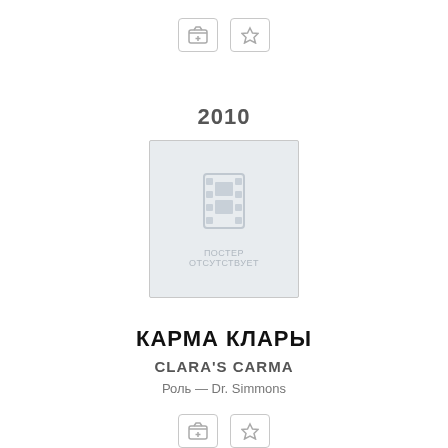[Figure (screenshot): Two icon buttons: a folder-with-plus icon and a star icon, both in rounded rectangle borders]
2010
[Figure (illustration): Movie poster placeholder with film strip icon and text 'ПОСТЕР ОТСУТСТВУЕТ' in light gray on a light blue-gray background]
КАРМА КЛАРЫ
CLARA'S CARMA
Роль — Dr. Simmons
[Figure (screenshot): Two icon buttons at the bottom: a folder-with-plus icon and a star icon, both in rounded rectangle borders]